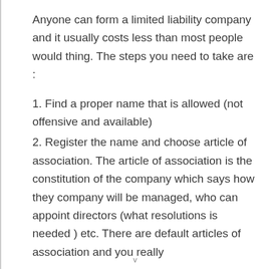Anyone can form a limited liability company and it usually costs less than most people would thing. The steps you need to take are :
1. Find a proper name that is allowed (not offensive and available)
2. Register the name and choose article of association. The article of association is the constitution of the company which says how they company will be managed, who can appoint directors (what resolutions is needed ) etc. There are default articles of association and you really